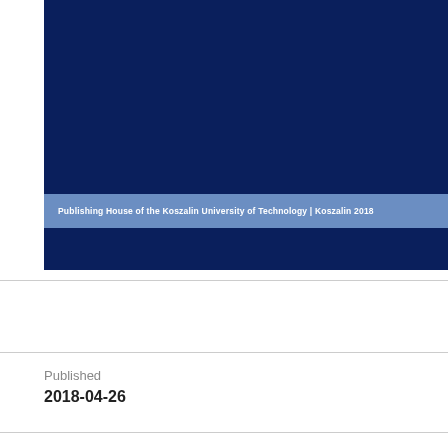[Figure (illustration): Dark navy blue book cover with a lighter blue horizontal banner strip containing white text: 'Publishing House of the Koszalin University of Technology | Koszalin 2018']
PDF
Published
2018-04-26